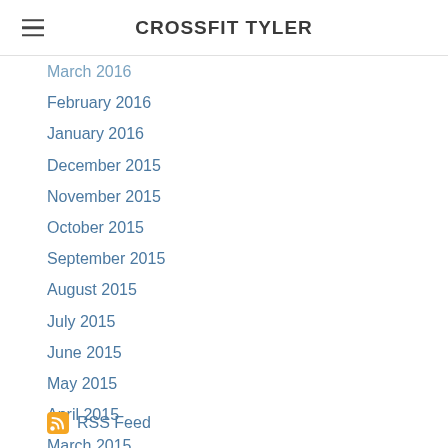CROSSFIT TYLER
March 2016
February 2016
January 2016
December 2015
November 2015
October 2015
September 2015
August 2015
July 2015
June 2015
May 2015
April 2015
March 2015
February 2015
January 2015
December 2014
November 2014
RSS Feed